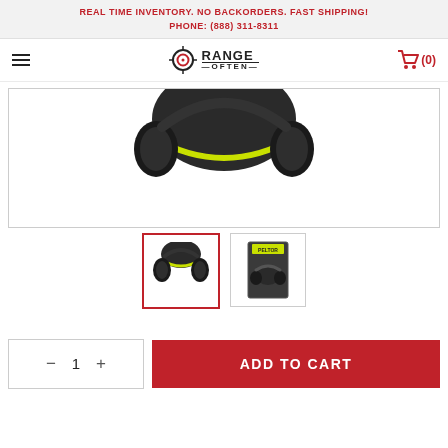REAL TIME INVENTORY. NO BACKORDERS. FAST SHIPPING!
PHONE: (888) 311-8311
[Figure (logo): Range Often logo with crosshair icon and text 'RANGE OFTEN']
[Figure (photo): Main product image: black and yellow/green shooting ear protection headphones (earmuffs), partially cropped, dark gray/black with lime yellow accent band]
[Figure (photo): Thumbnail 1 (selected, red border): black shooting ear protection earmuffs on white background]
[Figure (photo): Thumbnail 2: earmuffs in product packaging box]
ADD TO CART
1